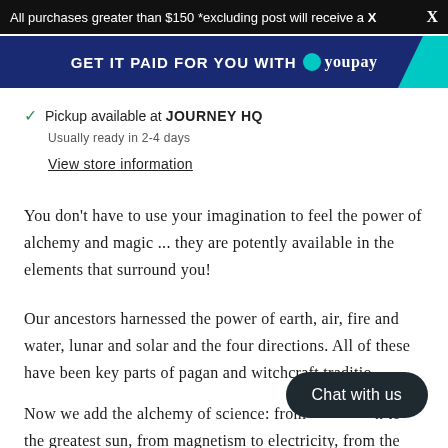All purchases greater than $150 *excluding post will receive a X
[Figure (infographic): YouPay banner: dark blue background with text 'GET IT PAID FOR YOU WITH youpay' and teal corner accent]
✓ Pickup available at JOURNEY HQ
Usually ready in 2-4 days
View store information
You don't have to use your imagination to feel the power of alchemy and magic ... they are potently available in the elements that surround you!
Our ancestors harnessed the power of earth, air, fire and water, lunar and solar and the four directions. All of these have been key parts of pagan and witchcraft traditio
Now we add the alchemy of science: from [Chat with us button overlay] to the greatest sun, from magnetism to electricity, from the